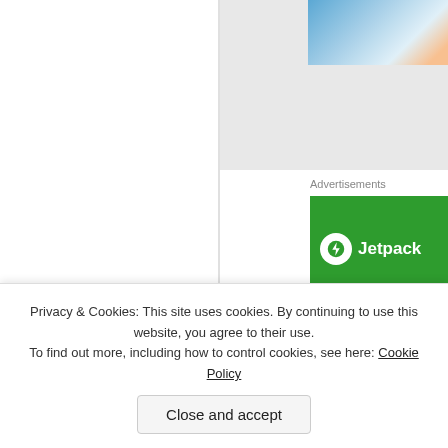[Figure (photo): Partial photo visible in upper right area, showing blue water/pool and a partial hand/arm]
Advertisements
[Figure (logo): Jetpack advertisement banner in green with white lightning bolt icon and 'Jetpack' text]
Elsewhere, Illmatic oozes with stature and... Guru and Gang Starr, soon becoming on... mix smooth jazz samples and hard-cuttin... would become a staple with Nas through... exciting force locally. "The World is Yours... legendary Mecca and the Soul Brother w... Called Quest, who produced and provide...
Privacy & Cookies: This site uses cookies. By continuing to use this website, you agree to their use.
To find out more, including how to control cookies, see here: Cookie Policy
Close and accept